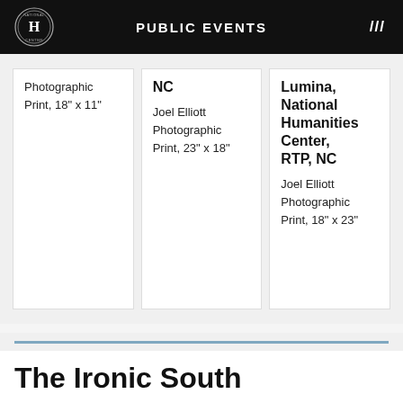PUBLIC EVENTS
Photographic Print, 18" x 11"
NC
Joel Elliott
Photographic Print, 23" x 18"
Lumina, National Humanities Center, RTP, NC
Joel Elliott
Photographic Print, 18" x 23"
The Ironic South